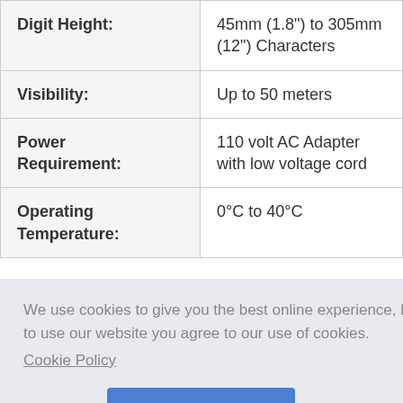| Property | Value |
| --- | --- |
| Digit Height: | 45mm (1.8") to 305mm (12") Characters |
| Visibility: | Up to 50 meters |
| Power Requirement: | 110 volt AC Adapter with low voltage cord |
| Operating Temperature: | 0°C to 40°C |
We use cookies to give you the best online experience, by continuing to use our website you agree to our use of cookies. Cookie Policy
Got it!   Allow cookies